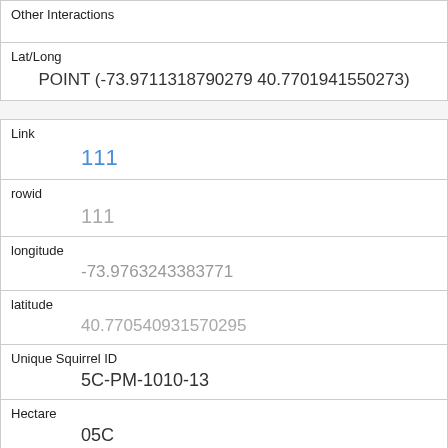| Other Interactions |  |
| Lat/Long | POINT (-73.9711318790279 40.7701941550273) |
| Link | 111 |
| rowid | 111 |
| longitude | -73.9763243383771 |
| latitude | 40.770540931570295 |
| Unique Squirrel ID | 5C-PM-1010-13 |
| Hectare | 05C |
| Shift | PM |
| Date | 10102018 |